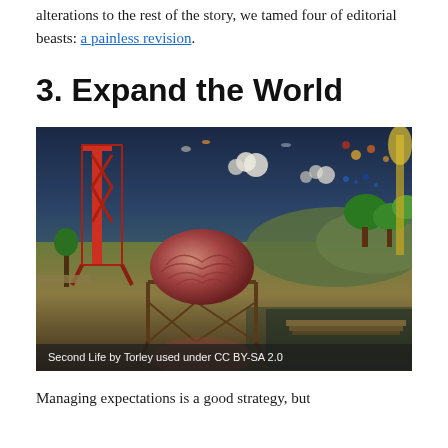alterations to the rest of the story, we tamed four of editorial beasts: a painless revision.
3. Expand the World
[Figure (photo): A Second Life virtual world screenshot showing a fantastical landscape with a large brain object on a scaffold structure, a red metal tower, floating objects in the sky, trees, hills, and a walkway. Caption reads: 'Second Life by Torley used under CC BY-SA 2.0']
Managing expectations is a good strategy, but